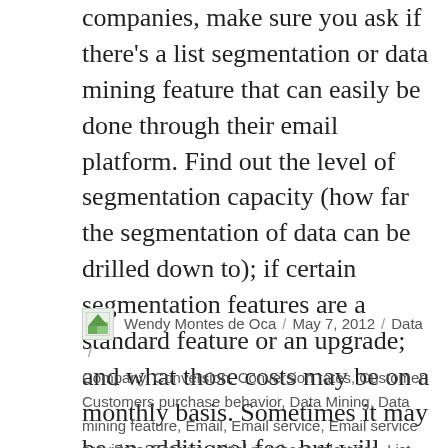companies, make sure you ask if there's a list segmentation or data mining feature that can easily be done through their email platform. Find out the level of segmentation capacity (how far the segmentation of data can be drilled down to); if certain segmentation features are a standard feature or an upgrade; and what those costs may be on a monthly basis. Sometimes it may be an additional fee, but will certainly pay for itself over time.
Wendy Montes de Oca / May 7, 2012 / Data / Company, Conversion, Conversion rates, Customer, Customers purchase behavior, Data Mining, Data mining feature, Email, Email service, Email service providers, Feature, Initial purchase tolerance, List, List segmentation, Monetary, Offer segmentation tools, Online email service, Payment options, Product, Response strategy, Robust